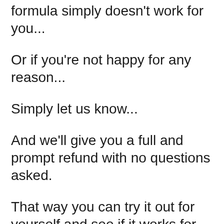formula simply doesn't work for you...
Or if you're not happy for any reason...
Simply let us know...
And we'll give you a full and prompt refund with no questions asked.
That way you can try it out for yourself and see if it works for